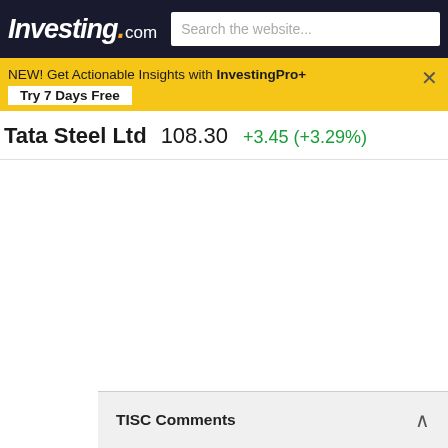Investing.com
NEW! Get Actionable Insights with InvestingPro+ Try 7 Days Free
Tata Steel Ltd  108.30  +3.45 (+3.29%)
TISC Comments